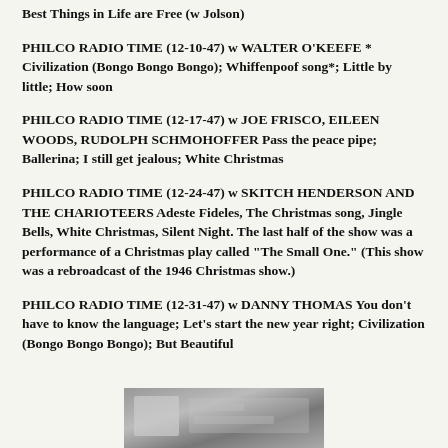Best Things in Life are Free (w Jolson)
PHILCO RADIO TIME (12-10-47) w WALTER O'KEEFE * Civilization (Bongo Bongo Bongo); Whiffenpoof song*; Little by little; How soon
PHILCO RADIO TIME (12-17-47) w JOE FRISCO, EILEEN WOODS, RUDOLPH SCHMOHOFFER Pass the peace pipe; Ballerina; I still get jealous; White Christmas
PHILCO RADIO TIME (12-24-47) w SKITCH HENDERSON AND THE CHARIOTEERS Adeste Fideles, The Christmas song, Jingle Bells, White Christmas, Silent Night. The last half of the show was a performance of a Christmas play called "The Small One." (This show was a rebroadcast of the 1946 Christmas show.)
PHILCO RADIO TIME (12-31-47) w DANNY THOMAS You don't have to know the language; Let's start the new year right; Civilization (Bongo Bongo Bongo); But Beautiful
[Figure (photo): Partial view of a black and white photograph at the bottom of the page]